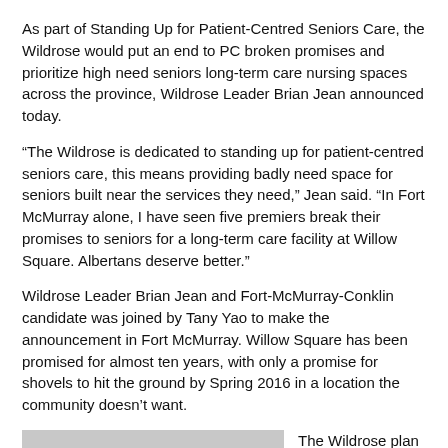As part of Standing Up for Patient-Centred Seniors Care, the Wildrose would put an end to PC broken promises and prioritize high need seniors long-term care nursing spaces across the province, Wildrose Leader Brian Jean announced today.
“The Wildrose is dedicated to standing up for patient-centred seniors care, this means providing badly need space for seniors built near the services they need,” Jean said. “In Fort McMurray alone, I have seen five premiers break their promises to seniors for a long-term care facility at Willow Square. Albertans deserve better.”
Wildrose Leader Brian Jean and Fort-McMurray-Conklin candidate was joined by Tany Yao to make the announcement in Fort McMurray. Willow Square has been promised for almost ten years, with only a promise for shovels to hit the ground by Spring 2016 in a location the community doesn’t want.
[Figure (photo): Gray placeholder photo area]
The Wildrose plan would reallocate funding f...